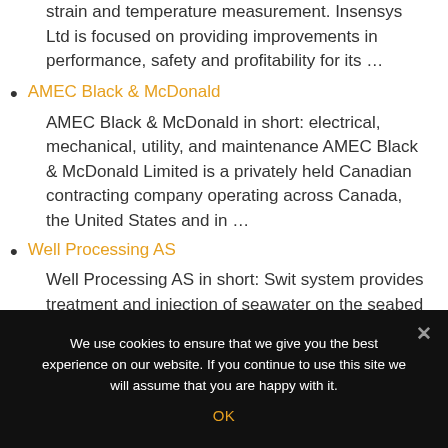strain and temperature measurement. Insensys Ltd is focused on providing improvements in performance, safety and profitability for its …
AMEC Black & McDonald
AMEC Black & McDonald in short: electrical, mechanical, utility, and maintenance AMEC Black & McDonald Limited is a privately held Canadian contracting company operating across Canada, the United States and in …
Well Processing AS
Well Processing AS in short: Swit system provides treatment and injection of seawater on the seabed Well Processing is a provider of engineering…
We use cookies to ensure that we give you the best experience on our website. If you continue to use this site we will assume that you are happy with it.
OK